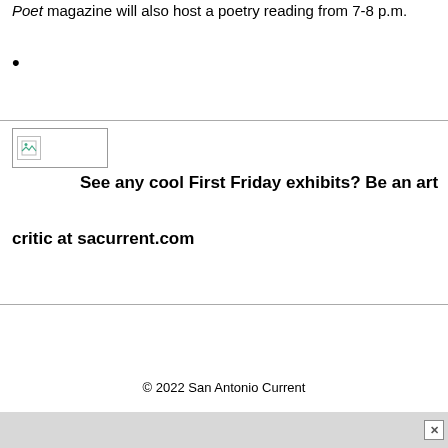Poet magazine will also host a poetry reading from 7-8 p.m.
•
[Figure (other): Broken image placeholder icon]
See any cool First Friday exhibits? Be an art critic at sacurrent.com
© 2022 San Antonio Current